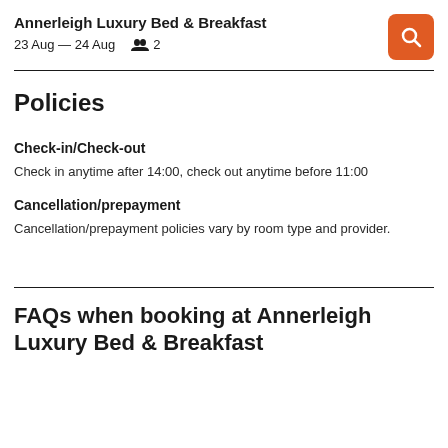Annerleigh Luxury Bed & Breakfast
23 Aug — 24 Aug  2
Policies
Check-in/Check-out
Check in anytime after 14:00, check out anytime before 11:00
Cancellation/prepayment
Cancellation/prepayment policies vary by room type and provider.
FAQs when booking at Annerleigh Luxury Bed & Breakfast